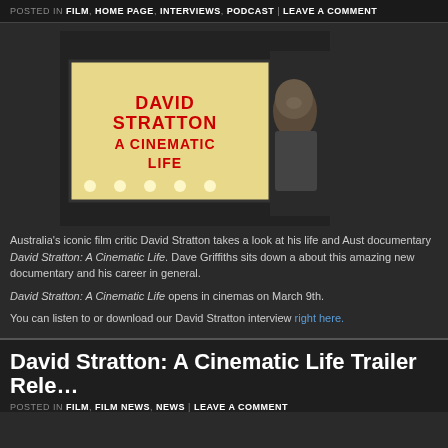POSTED IN FILM, HOME PAGE, INTERVIEWS, PODCAST | LEAVE A COMMENT
[Figure (photo): Movie marquee sign reading 'DAVID STRATTON A CINEMATIC LIFE' with a man's face in shadow on the right side]
Australia's iconic film critic David Stratton takes a look at his life and Aust documentary David Stratton: A Cinematic Life. Dave Griffiths sits down a about this amazing new documentary and his career in general.
David Stratton: A Cinematic Life opens in cinemas on March 9th.
You can listen to or download our David Stratton interview right here.
David Stratton: A Cinematic Life Trailer Rele…
POSTED IN FILM, FILM NEWS, NEWS | LEAVE A COMMENT